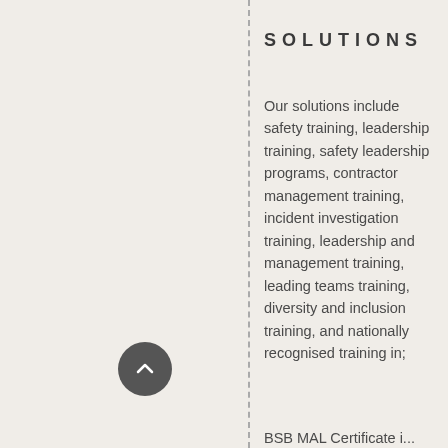SOLUTIONS
Our solutions include safety training, leadership training, safety leadership programs, contractor management training, incident investigation training, leadership and management training, leading teams training, diversity and inclusion training, and nationally recognised training in;